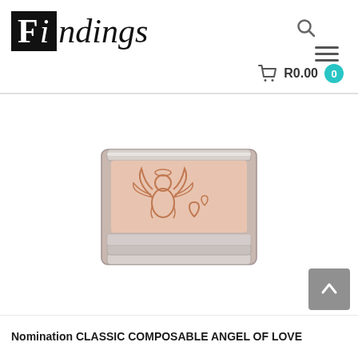[Figure (logo): Findings jewelry store logo — black box with white 'F' and italic 'indings' text in serif font]
[Figure (photo): Nomination CLASSIC COMPOSABLE ANGEL OF LOVE charm — a rectangular stainless steel and rose gold bracelet link with an engraved angel cupid and heart design]
Nomination CLASSIC COMPOSABLE ANGEL OF LOVE